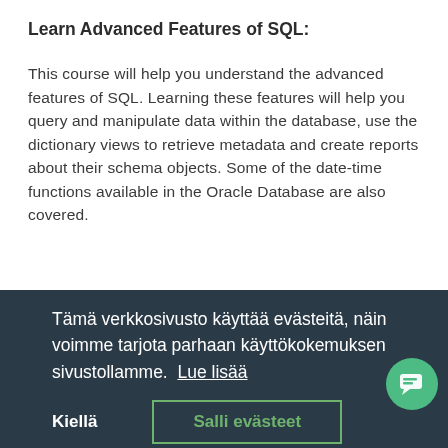Learn Advanced Features of SQL:
This course will help you understand the advanced features of SQL. Learning these features will help you query and manipulate data within the database, use the dictionary views to retrieve metadata and create reports about their schema objects. Some of the date-time functions available in the Oracle Database are also covered.
Tämä verkkosivusto käyttää evästeitä, näin voimme tarjota parhaan käyttökokemuksen sivustollamme.  Lue lisää
Kiellä    Salli evästeet
Please note: This course is a combination of Oracle